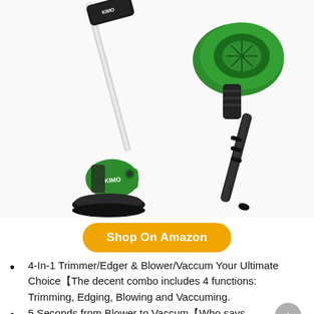[Figure (photo): Product photo showing a green and black KIMO brand 4-in-1 string trimmer/edger on the left, and a green and black leaf blower/vacuum on the right, both cordless power tools on white background.]
Shop On Amazon
4-In-1 Trimmer/Edger & Blower/Vaccum Your Ultimate Choice【The decent combo includes 4 functions: Trimming, Edging, Blowing and Vaccuming.
5 Seconds from Blower to Vaccum【Who says